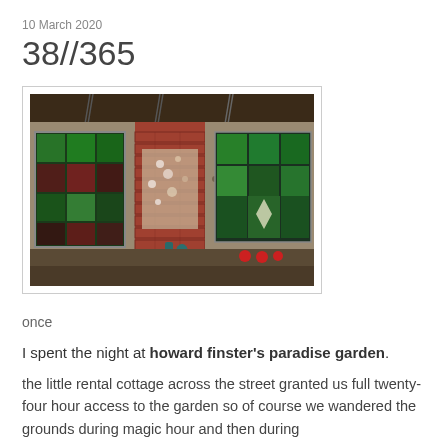10 March 2020
38//365
[Figure (photo): Exterior wall of a folk art environment: stone and brick walls with colorful stained-glass-style mosaic tile panels in green and red, chains hanging from a wooden overhang, a small central spigot or faucet between two decorative windows, and red spherical decorations along the base.]
once
I spent the night at howard finster's paradise garden.
the little rental cottage across the street granted us full twenty-four hour access to the garden so of course we wandered the grounds during magic hour and then during